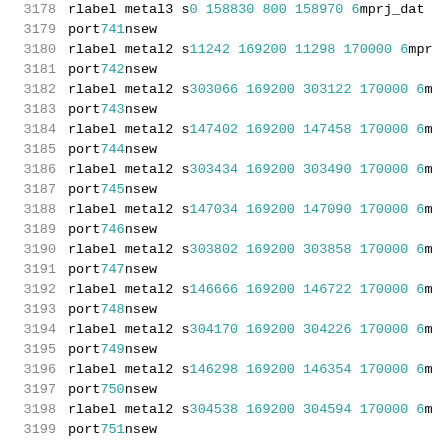3178  rlabel metal3 s 0 158830 800 158970 6 mprj_dat...
3179  port 741 nsew
3180  rlabel metal2 s 11242 169200 11298 170000 6 mpr...
3181  port 742 nsew
3182  rlabel metal2 s 303066 169200 303122 170000 6 m...
3183  port 743 nsew
3184  rlabel metal2 s 147402 169200 147458 170000 6 m...
3185  port 744 nsew
3186  rlabel metal2 s 303434 169200 303490 170000 6 m...
3187  port 745 nsew
3188  rlabel metal2 s 147034 169200 147090 170000 6 m...
3189  port 746 nsew
3190  rlabel metal2 s 303802 169200 303858 170000 6 m...
3191  port 747 nsew
3192  rlabel metal2 s 146666 169200 146722 170000 6 m...
3193  port 748 nsew
3194  rlabel metal2 s 304170 169200 304226 170000 6 m...
3195  port 749 nsew
3196  rlabel metal2 s 146298 169200 146354 170000 6 m...
3197  port 750 nsew
3198  rlabel metal2 s 304538 169200 304594 170000 6 m...
3199  port 751 nsew